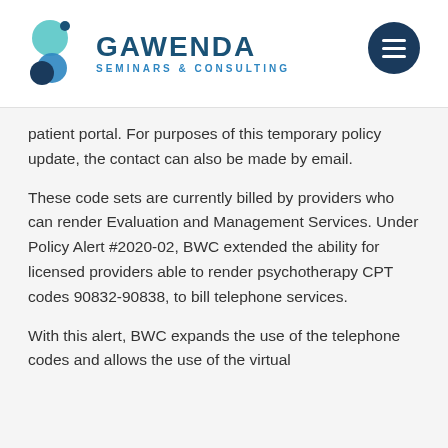Gawenda Seminars & Consulting
patient portal. For purposes of this temporary policy update, the contact can also be made by email.
These code sets are currently billed by providers who can render Evaluation and Management Services. Under Policy Alert #2020-02, BWC extended the ability for licensed providers able to render psychotherapy CPT codes 90832-90838, to bill telephone services.
With this alert, BWC expands the use of the telephone codes and allows the use of the virtual